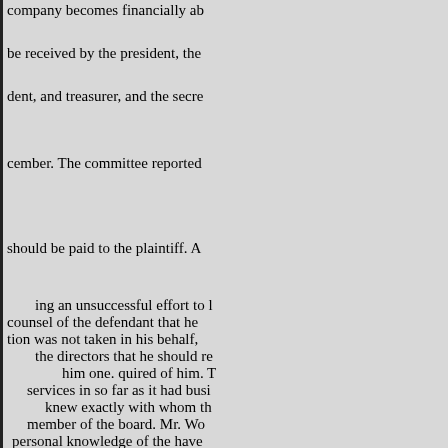company becomes financially ab be received by the president, the dent, and treasurer, and the secre cember. The committee reported should be paid to the plaintiff. A ing an unsuccessful effort to l counsel of the defendant that he tion was not taken in his behalf, the directors that he should re him one. quired of him. T services in so far as it had busi knew exactly with whom th member of the board. Mr. Wo personal knowledge of the have upon the company's c rangement, the nature of w They were accepting his important to statement o adjourned without taking any ac